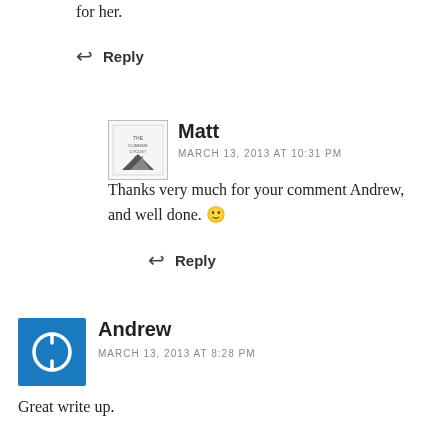for her.
↩ Reply
Matt
MARCH 13, 2013 AT 10:31 PM
Thanks very much for your comment Andrew, and well done. 🙂
↩ Reply
Andrew
MARCH 13, 2013 AT 8:28 PM
Great write up.